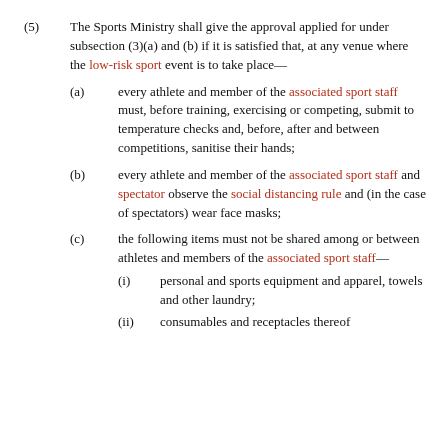(5) The Sports Ministry shall give the approval applied for under subsection (3)(a) and (b) if it is satisfied that, at any venue where the low-risk sport event is to take place—
(a) every athlete and member of the associated sport staff must, before training, exercising or competing, submit to temperature checks and, before, after and between competitions, sanitise their hands;
(b) every athlete and member of the associated sport staff and spectator observe the social distancing rule and (in the case of spectators) wear face masks;
(c) the following items must not be shared among or between athletes and members of the associated sport staff—
(i) personal and sports equipment and apparel, towels and other laundry;
(ii) consumables and receptacles thereof